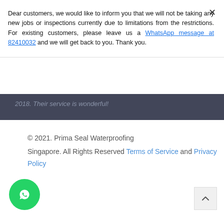Dear customers, we would like to inform you that we will not be taking any new jobs or inspections currently due to limitations from the restrictions. For existing customers, please leave us a WhatsApp message at 82410032 and we will get back to you. Thank you.
2018. Their service is wonderful!
read more
Next Reviews
© 2021. Prima Seal Waterproofing Singapore. All Rights Reserved Terms of Service and Privacy Policy